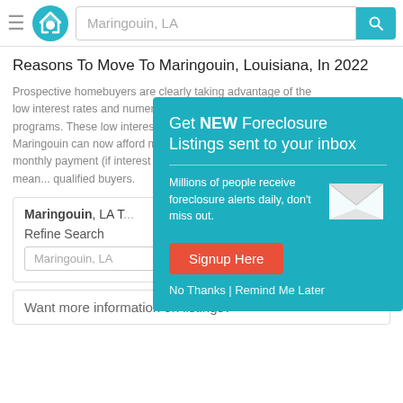Maringouin, LA [search bar]
Reasons To Move To Maringouin, Louisiana, In 2022
Prospective homebuyers are clearly taking advantage of the low interest rates and numerous government assistance programs. These low interest rates mean homebuyers in Maringouin can now afford much more house for the same monthly payment (if interest rates were h[igh]... in Maringouin, mean[ing]... qualified buyers.
Maringouin, LA T[...]
Refine Search
Maringouin, LA
[Figure (infographic): Modal popup with teal background: 'Get NEW Foreclosure Listings sent to your inbox'. Body text: 'Millions of people receive foreclosure alerts daily, don't miss out.' Envelope icon. Red 'Signup Here' button. 'No Thanks | Remind Me Later' link.]
Want more information on listings?